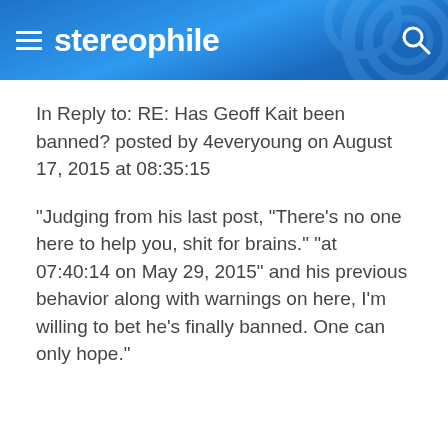stereophile
In Reply to: RE: Has Geoff Kait been banned? posted by 4everyoung on August 17, 2015 at 08:35:15
"Judging from his last post, "There's no one here to help you, shit for brains." "at 07:40:14 on May 29, 2015" and his previous behavior along with warnings on here, I'm willing to bet he's finally banned. One can only hope."